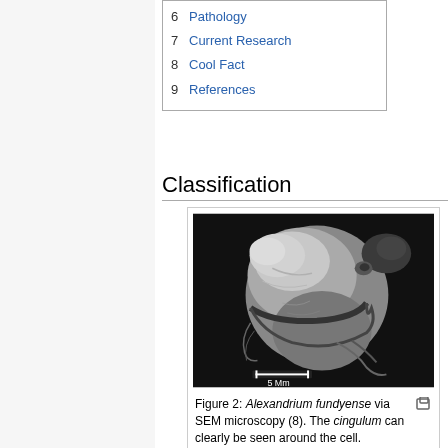6  Pathology
7  Current Research
8  Cool Fact
9  References
Classification
[Figure (photo): Scanning electron microscopy (SEM) image of Alexandrium fundyense cell, showing a roughly spherical cell with surface texture and cingulum groove visible around the cell. Scale bar reads 5 Mm.]
Figure 2: Alexandrium fundyense via SEM microscopy (8). The cingulum can clearly be seen around the cell.